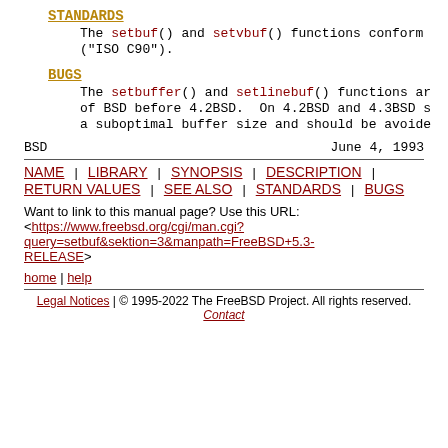STANDARDS
The setbuf() and setvbuf() functions conform to ("ISO C90").
BUGS
The setbuffer() and setlinebuf() functions are of BSD before 4.2BSD. On 4.2BSD and 4.3BSD s a suboptimal buffer size and should be avoided.
BSD	June 4, 1993
NAME | LIBRARY | SYNOPSIS | DESCRIPTION | RETURN VALUES | SEE ALSO | STANDARDS | BUGS
Want to link to this manual page? Use this URL:
<https://www.freebsd.org/cgi/man.cgi?query=setbuf&sektion=3&manpath=FreeBSD+5.3-RELEASE>
home | help
Legal Notices | © 1995-2022 The FreeBSD Project. All rights reserved. Contact